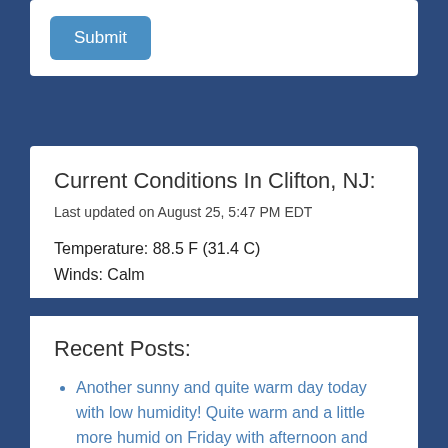[Figure (screenshot): Submit button — blue rounded rectangle with white text]
Current Conditions In Clifton, NJ:
Last updated on August 25, 5:47 PM EDT
Temperature: 88.5 F (31.4 C)
Winds: Calm
View full station data »
Recent Posts:
Another sunny and quite warm day today with low humidity! Quite warm and a little more humid on Friday with afternoon and evening showers likely! Mainly dry with warm temperatures and moderate humidity for the weekend! Quite warm again early next week!
Sunny and quite warm today! Above normal